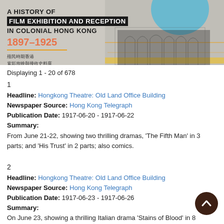[Figure (illustration): Banner image for 'A History of Film Exhibition and Reception in Colonial Hong Kong 1897-1925' database, with Chinese text and architectural illustration with blue dome]
Displaying 1 - 20 of 678
1
Headline: Hongkong Theatre: Old Land Office Building
Newspaper Source: Hong Kong Telegraph
Publication Date: 1917-06-20 - 1917-06-22
Summary:
From June 21-22, showing two thrilling dramas, 'The Fifth Man' in 3 parts; and 'His Trust' in 2 parts; also comics.
2
Headline: Hongkong Theatre: Old Land Office Building
Newspaper Source: Hong Kong Telegraph
Publication Date: 1917-06-23 - 1917-06-26
Summary:
On June 23, showing a thrilling Italian drama 'Stains of Blood' in 8